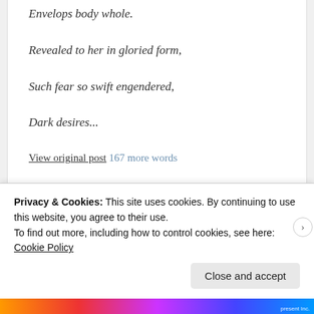Envelops body whole.
Revealed to her in gloried form,
Such fear so swift engendered,
Dark desires...
View original post 167 more words
SHARE THIS:
Privacy & Cookies: This site uses cookies. By continuing to use this website, you agree to their use. To find out more, including how to control cookies, see here: Cookie Policy
Close and accept